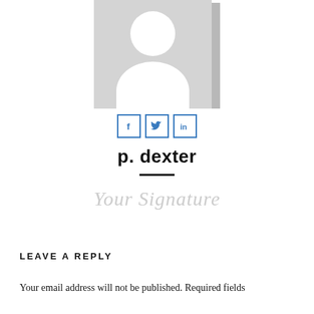[Figure (illustration): Gray placeholder avatar silhouette with white background showing a generic person outline (circle head and rounded torso shape), with a light gray card shadow on the right side.]
[Figure (infographic): Three social media icon buttons in a row: Facebook (f), Twitter (bird symbol), LinkedIn (in), each in a square with a blue border and blue icon.]
p. dexter
[Figure (illustration): A short horizontal black rule divider line centered under the name.]
Your Signature
LEAVE A REPLY
Your email address will not be published. Required fields